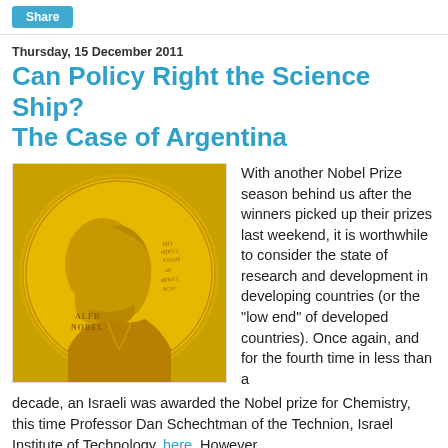Share
Thursday, 15 December 2011
Can Policy Right the Science Ship? The Case of Argentina
[Figure (photo): A gold Nobel Prize medal showing a relief portrait of Alfred Nobel with text 'ALFR NOBEL' and Latin inscriptions.]
With another Nobel Prize season behind us after the winners picked up their prizes last weekend, it is worthwhile to consider the state of research and development in developing countries (or the "low end" of developed countries). Once again, and for the fourth time in less than a decade, an Israeli was awarded the Nobel prize for Chemistry, this time Professor Dan Schechtman of the Technion, Israel Institute of Technology, here. However